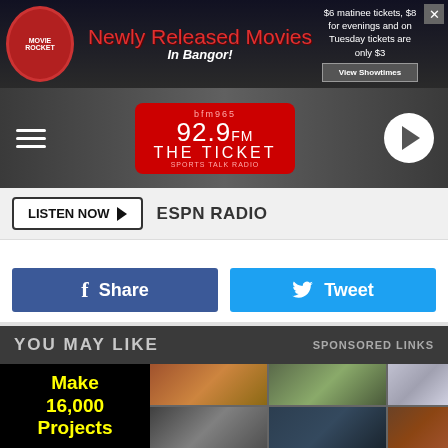[Figure (screenshot): Movie Rocket advertisement banner: 'Newly Released Movies In Bangor!' with pricing info '$6 matinee tickets, $8 for evenings and on Tuesday tickets are only $3' and View Showtimes button]
[Figure (logo): 92.9fm The Ticket ESPN Radio station logo in navigation bar with hamburger menu and play button]
LISTEN NOW ▶  ESPN RADIO
[Figure (infographic): Facebook Share button (dark blue) and Twitter Tweet button (light blue) side by side]
YOU MAY LIKE
SPONSORED LINKS
[Figure (photo): Woodworking advertisement showing 'Make 16,000 Projects' in yellow text on black background, with grid of woodworking project photos including tables, benches, and furniture]
[Figure (screenshot): Bottom Movie Rocket advertisement banner: 'Newly Released Movies In Bangor!' with same pricing info and View Showtimes button]